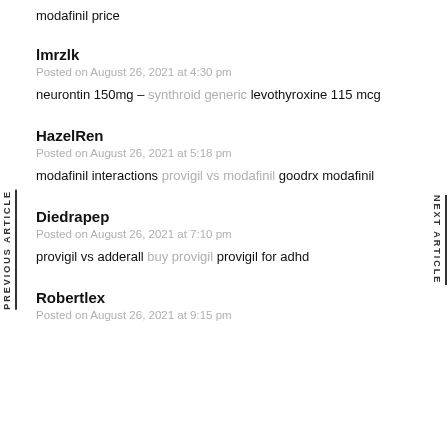modafinil price
lmrzlk
Posted on August 26, 2021 at 4:30 pm
neurontin 150mg – synthroid generic levothyroxine 115 mcg
HazelRen
Posted on August 26, 2021 at 5:18 pm
modafinil interactions provigil vs modafinil goodrx modafinil
Diedrapep
Posted on August 26, 2021 at 7:10 pm
provigil vs adderall buy provigil provigil for adhd
Robertlex
Posted on August 26, 2021 at 9:15 pm